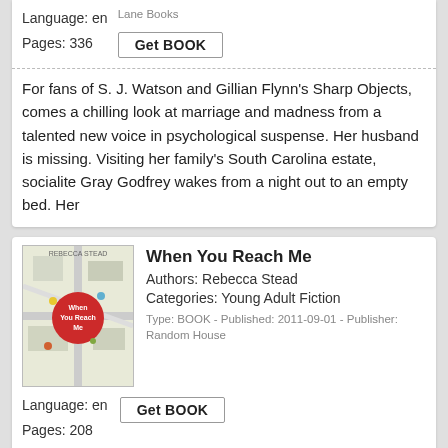Language: en
Lane Books
Pages: 336
Get BOOK
For fans of S. J. Watson and Gillian Flynn's Sharp Objects, comes a chilling look at marriage and madness from a talented new voice in psychological suspense. Her husband is missing. Visiting her family's South Carolina estate, socialite Gray Godfrey wakes from a night out to an empty bed. Her
When You Reach Me
Authors: Rebecca Stead
Categories: Young Adult Fiction
Type: BOOK - Published: 2011-09-01 - Publisher: Random House
Language: en
Pages: 208
Get BOOK
Miranda's life is starting to unravel. Her best friend, Sal, gets punched by a kid on the street for what seems like no reason, and he shuts Miranda out of his life. The key that Miranda's mum keeps hidden for emergencies is stolen. And then a